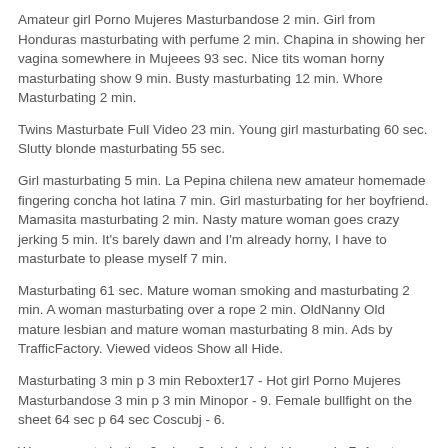Amateur girl Porno Mujeres Masturbandose 2 min. Girl from Honduras masturbating with perfume 2 min. Chapina in showing her vagina somewhere in Mujeees 93 sec. Nice tits woman horny masturbating show 9 min. Busty masturbating 12 min. Whore Masturbating 2 min.
Twins Masturbate Full Video 23 min. Young girl masturbating 60 sec. Slutty blonde masturbating 55 sec.
Girl masturbating 5 min. La Pepina chilena new amateur homemade fingering concha hot latina 7 min. Girl masturbating for her boyfriend. Mamasita masturbating 2 min. Nasty mature woman goes crazy jerking 5 min. It's barely dawn and I'm already horny, I have to masturbate to please myself 7 min.
Masturbating 61 sec. Mature woman smoking and masturbating 2 min. A woman masturbating over a rope 2 min. OldNanny Old mature lesbian and mature woman masturbating 8 min. Ads by TrafficFactory. Viewed videos Show all Hide.
Masturbating 3 min p 3 min Reboxter17 - Hot girl Porno Mujeres Masturbandose 3 min p 3 min Minopor - 9. Female bullfight on the sheet 64 sec p 64 sec Coscubj - 6.
Woman masturbating 2 min p 2 min Luisdavidpornoel - 7. Amateur Mastugbandose masturbating 2 min p 2 min Amateurkingdom Evelynn Lore 1. Girl from Honduras masturbating with perfume 2 min p 2 min Blacknegr0 - Chapina in showing her vagina somewhere in Guatemala 93 sec p 93 sec Zuryrios - Nice tits E621 Teacher horny masturbating show 9 Porjo p 9 min Jjvyxxx - Busty masturbating 12 min p 12 min Josekyc - Whore Masturbating 2 min p 2 min Javierjose27 - Twins Masturbate Full Video 23 min p 23 min Duberth - 2.
Young girl masturbating 60 sec p 60 sec Tirafaldas - 2. Slutty blonde masturbating 55 Porno Mujeres Masturbandose p 55 sec Culazos - Girl